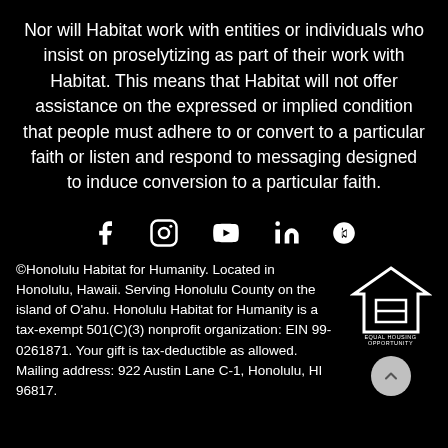Nor will Habitat work with entities or individuals who insist on proselytizing as part of their work with Habitat. This means that Habitat will not offer assistance on the expressed or implied condition that people must adhere to or convert to a particular faith or listen and respond to messaging designed to induce conversion to a particular faith.
[Figure (infographic): Social media icons: Facebook, Instagram, YouTube, LinkedIn, Yelp]
©Honolulu Habitat for Humanity. Located in Honolulu, Hawaii. Serving Honolulu County on the island of O'ahu. Honolulu Habitat for Humanity is a tax-exempt 501(C)(3) nonprofit organization: EIN 99-0261871. Your gift is tax-deductible as allowed. Mailing address: 922 Austin Lane C-1, Honolulu, HI 96817.
[Figure (logo): Equal Housing Opportunity logo - house with equals sign]